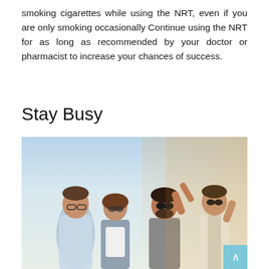smoking cigarettes while using the NRT, even if you are only smoking occasionally Continue using the NRT for as long as recommended by your doctor or pharmacist to increase your chances of success.
Stay Busy
[Figure (photo): Four young adults standing together outdoors in warm sunlight, socializing and laughing. Two men and two women wearing casual clothes and sunglasses.]